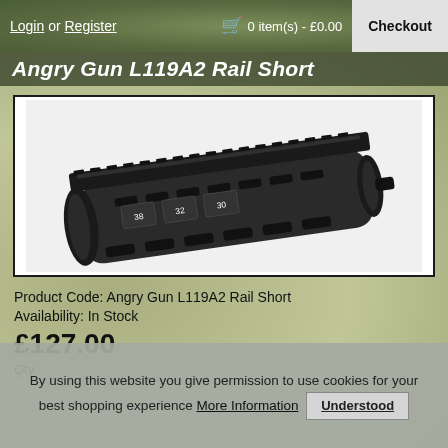Login or Register  0 item(s) - £0.00  Checkout
Angry Gun L119A2 Rail Short
[Figure (photo): Product photo of Angry Gun L119A2 Rail Short - a black tactical handguard/rail system for firearms, shown at an angle on white background]
Product Code: Angry Gun L119A2 Rail Short
Availability: In Stock
£127.00
Qty
By using this website you give permission to use cookies for your best shopping experience More Information  Understood